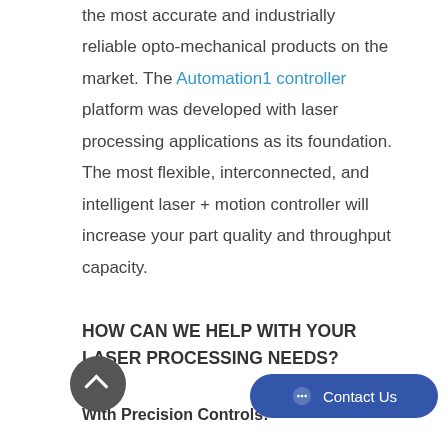the most accurate and industrially reliable opto-mechanical products on the market. The Automation1 controller platform was developed with laser processing applications as its foundation. The most flexible, interconnected, and intelligent laser + motion controller will increase your part quality and throughput capacity.
HOW CAN WE HELP WITH YOUR LASER PROCESSING NEEDS?
With Precision Controls: